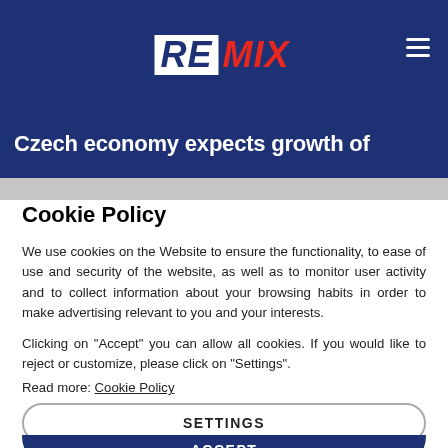REMIX
Czech economy expects growth of
Cookie Policy
We use cookies on the Website to ensure the functionality, to ease of use and security of the website, as well as to monitor user activity and to collect information about your browsing habits in order to make advertising relevant to you and your interests.
Clicking on "Accept" you can allow all cookies. If you would like to reject or customize, please click on "Settings".
Read more: Cookie Policy
SETTINGS
ACCEPT